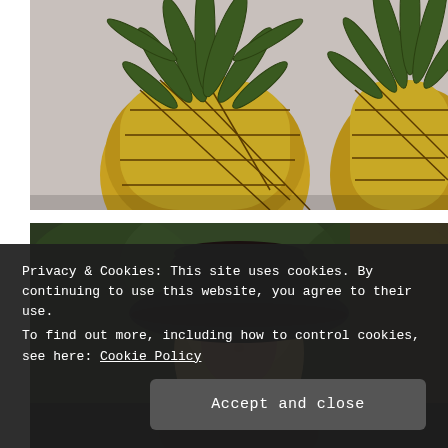[Figure (photo): Close-up photo of two pineapples against a light background, showing green spiky tops and yellow-green textured bodies]
[Figure (photo): Photo of a woman wearing a large black hat, partially visible, with a blurred green background]
Privacy & Cookies: This site uses cookies. By continuing to use this website, you agree to their use.
To find out more, including how to control cookies, see here: Cookie Policy
Accept and close